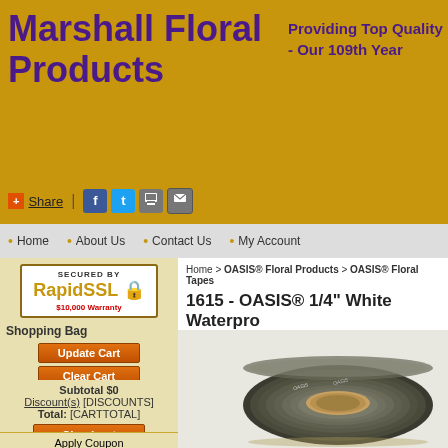Marshall Floral Products
Providing Top Quality - Our 109th Year
+ Share | [Facebook] [Twitter] [Print] [Email]
Home • About Us • Contact Us • My Account
[Figure (logo): SECURED BY RapidSSL $10,000 Warranty badge]
Shopping Bag
Update Cart
Clear Cart
[ITEM_NAME]
View/Hide options
[ITEM] [ITEM_PRICE]
Subtotal $0
Discount(s) [DISCOUNTS]
Total: [CARTTOTAL]
Checkout
Apply Coupon
Home > OASIS® Floral Products > OASIS® Floral Tapes
1615 - OASIS® 1/4" White Waterproof Tape, 48 rolls
Part Number 1615
Zoom
[Figure (photo): Roll of OASIS waterproof tape, dark gray/black color, seen from slight angle showing the spiral layers]